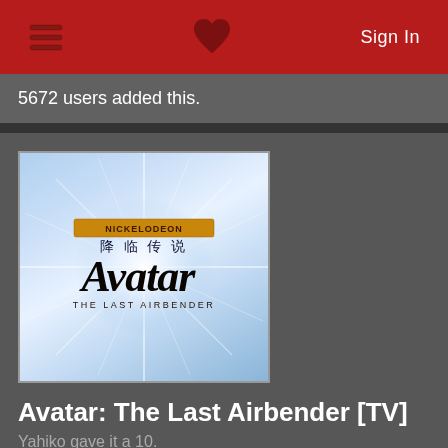Sign In
5672 users added this.
[Figure (logo): Avatar: The Last Airbender animated series logo on a light blue sky background with a starburst light effect. Shows Chinese characters, the stylized 'Avatar' title in black italic serif font, and 'THE LAST AIRBENDER' subtitle text below.]
Avatar: The Last Airbender [TV]
Yahiko gave it a 10.
In a lost age the world is divided into four equal powers: Water Tribe, Earth Kingdom, Fire Nation, and Air Nomads. In each nation there's a group of gifted people known as Benders who have the ability to manipulate their native element using martial arts
6911 users added this.